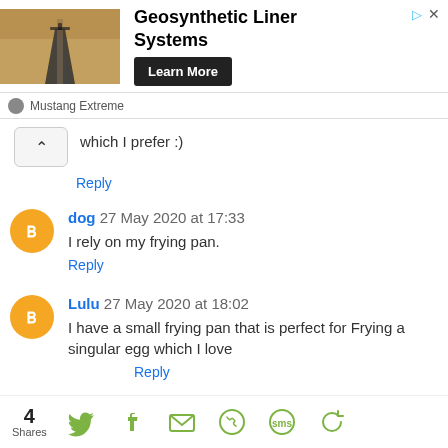[Figure (infographic): Advertisement banner for Geosynthetic Liner Systems by Mustang Extreme with photo of road/liner installation, Learn More button, and ad corner icons.]
which I prefer :)
Reply
dog 27 May 2020 at 17:33
I rely on my frying pan.
Reply
Lulu 27 May 2020 at 18:02
I have a small frying pan that is perfect for Frying a singular egg which I love
Reply
4 Shares